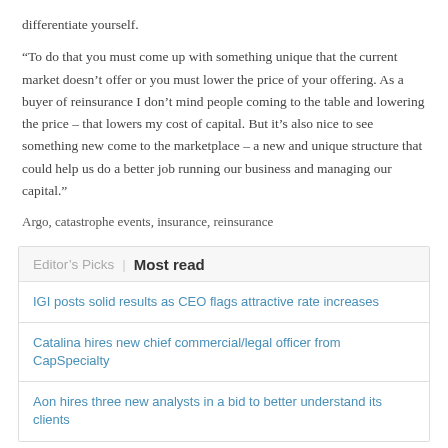differentiate yourself.
“To do that you must come up with something unique that the current market doesn’t offer or you must lower the price of your offering. As a buyer of reinsurance I don’t mind people coming to the table and lowering the price – that lowers my cost of capital. But it’s also nice to see something new come to the marketplace – a new and unique structure that could help us do a better job running our business and managing our capital.”
Argo, catastrophe events, insurance, reinsurance
Editor’s Picks | Most read
IGI posts solid results as CEO flags attractive rate increases
Catalina hires new chief commercial/legal officer from CapSpecialty
Aon hires three new analysts in a bid to better understand its clients